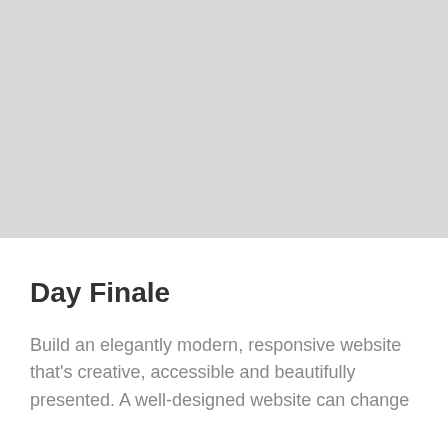[Figure (photo): Large gray placeholder image occupying the top portion of the page]
Day Finale
Build an elegantly modern, responsive website that's creative, accessible and beautifully presented. A well-designed website can change